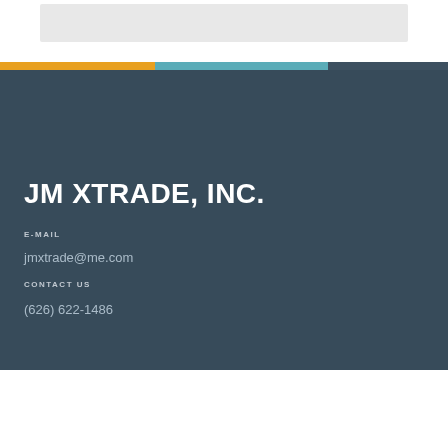[Figure (other): Gray rounded rectangle box at the top of the page on white background]
[Figure (other): Horizontal color stripe bar with orange, teal, and dark blue-gray segments]
JM XTRADE, INC.
E-MAIL
jmxtrade@me.com
CONTACT US
(626) 622-1486